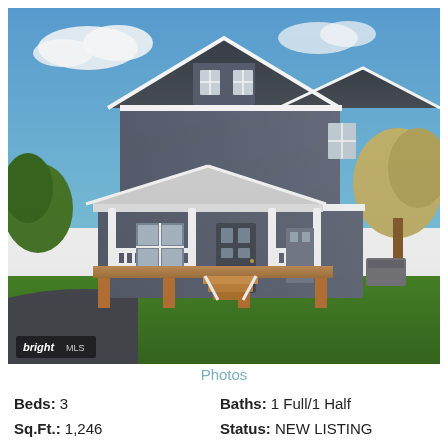[Figure (photo): Exterior photograph of a two-story gray/blue craftsman-style house with white trim, covered front porch with white railings, wooden deck base, green lawn, and trees in background. Blue sky with clouds visible. 'bright MLS' watermark in lower left corner.]
Photos
Beds: 3
Baths: 1 Full/1 Half
Sq.Ft.: 1,246
Status: NEW LISTING